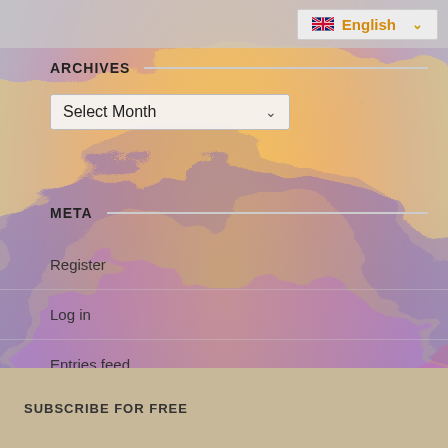English
ARCHIVES
Select Month
META
Register
Log in
Entries feed
Comments feed
WordPress.org
SUBSCRIBE FOR FREE